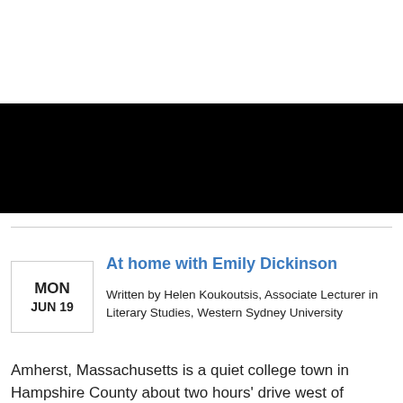[Figure (photo): Black banner/header image with a small white rectangle outline in the upper right area]
At home with Emily Dickinson
Written by Helen Koukoutsis, Associate Lecturer in Literary Studies, Western Sydney University
Amherst, Massachusetts is a quiet college town in Hampshire County about two hours' drive west of